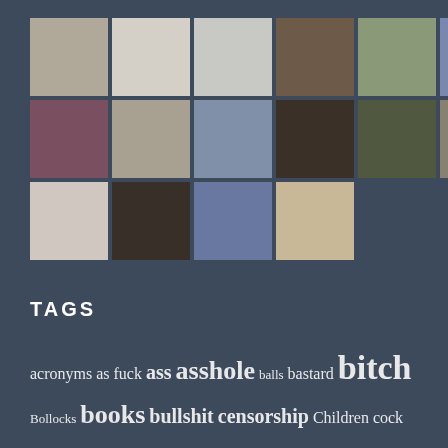[Figure (photo): Grid of 24 avatar/profile photos arranged in 3 rows of 10, 10, and 4 images on a dark blue-grey background]
TAGS
acronyms as fuck ass asshole balls bastard bitch Bollocks books bullshit censorship Children cock cocksucker comedy cunt cursing damn dick Donald Trump emoji etymology euphemisms films food fuck fucking gender grammar guest post hell History humour insult insults intensifiers Irish language law lexicography linguistics military slang motherfucker music penis piss politics pop culture